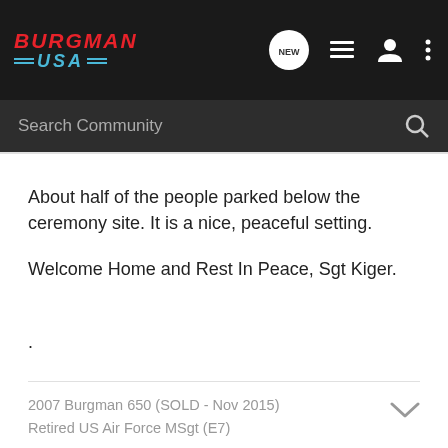[Figure (screenshot): Burgman USA community forum website header with logo, NEW chat bubble icon, list icon, user icon, and menu icon on dark background]
[Figure (screenshot): Dark grey search bar with 'Search Community' placeholder text and magnifying glass icon]
About half of the people parked below the ceremony site. It is a nice, peaceful setting.
Welcome Home and Rest In Peace, Sgt Kiger.
.
2007 Burgman 650 (SOLD - Nov 2015)
Retired US Air Force MSgt (E7)